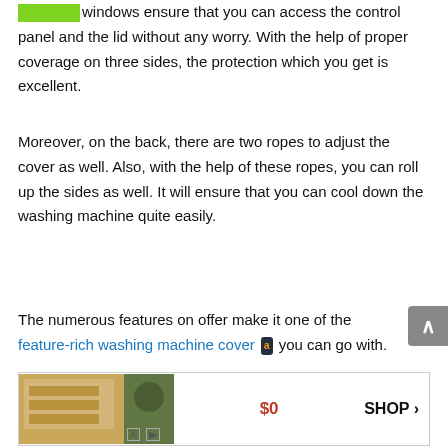[highlighted] windows ensure that you can access the control panel and the lid without any worry. With the help of proper coverage on three sides, the protection which you get is excellent.
Moreover, on the back, there are two ropes to adjust the cover as well. Also, with the help of these ropes, you can roll up the sides as well. It will ensure that you can cool down the washing machine quite easily.
The numerous features on offer make it one of the feature-rich washing machine cover [amazon icon] you can go with.
[Figure (screenshot): Advertisement banner showing folded towels image on left, a green plant/basket image in center, red $0 price text, and SHOP > button on right]